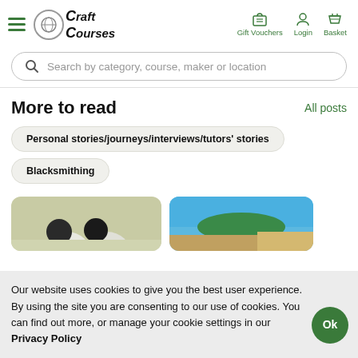CraftCourses — Gift Vouchers, Login, Basket
Search by category, course, maker or location
More to read
All posts
Personal stories/journeys/interviews/tutors' stories
Blacksmithing
[Figure (photo): Two people in dark clothing, light background]
[Figure (photo): Landscape with blue sky and hills near water]
Our website uses cookies to give you the best user experience. By using the site you are consenting to our use of cookies. You can find out more, or manage your cookie settings in our Privacy Policy